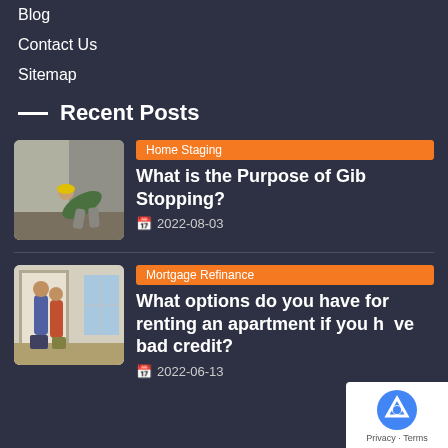Blog
Contact Us
Sitemap
Recent Posts
[Figure (photo): Person bending over doing gib stopping or plastering work]
Home Staging
What is the Purpose of Gib Stopping?
2022-08-03
[Figure (photo): Two people at a doorway with luggage, renting apartment scene]
Mortgage Refinance
What options do you have for renting an apartment if you have bad credit?
2022-06-13